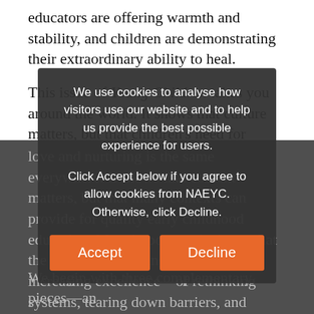educators are offering warmth and stability, and children are demonstrating their extraordinary ability to heal.
This issue of Young Children takes you around the world. It shows that culture matters, but that children's need for love and nurturing is the same everywhere. It shows that context matters, but that many contexts can provide for quality early childhood education. Most important, it shows that the work of advancing equity and increasing excellence—of rethinking systems, tearing down barriers, and transforming teaching and learning—is happening in radically different places and peoples.
We use cookies to analyse how visitors use our website and to help us provide the best possible experience for users. Click Accept below if you agree to allow cookies from NAEYC. Otherwise, click Decline.
We begin with three complementary pieces—an